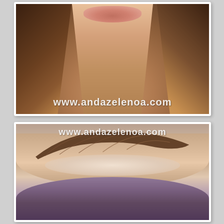[Figure (photo): Close-up photo of a woman's lower face and neck area with long brown/auburn hair, showing lips and neck. Watermark text 'www.andazelenoa.com' visible at the bottom of the image.]
[Figure (photo): Extreme close-up photo of an eyebrow and eye area showing a dark brown/arched eyebrow with shimmery taupe/beige eyeshadow on the brow bone and dark purple/plum eyeshadow in the crease. Watermark text 'www.andazelenoa.com' visible at the top of the image.]